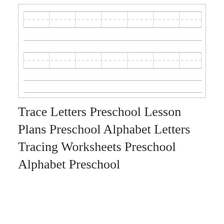[Figure (illustration): A worksheet writing practice box with tracing lines: solid baseline lines, dashed midlines, and dot-grid letter tracing rows arranged in a lined writing practice format.]
Trace Letters Preschool Lesson Plans Preschool Alphabet Letters Tracing Worksheets Preschool Alphabet Preschool